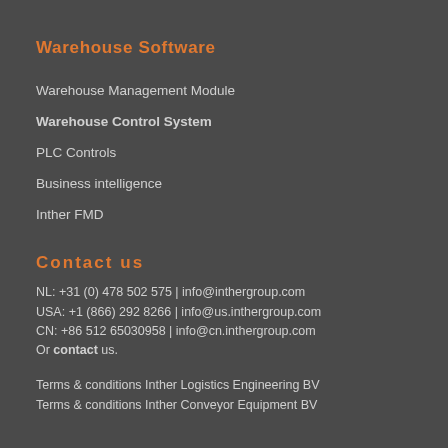Warehouse Software
Warehouse Management Module
Warehouse Control System
PLC Controls
Business intelligence
Inther FMD
Contact us
NL: +31 (0) 478 502 575 | info@inthergroup.com
USA: +1 (866) 292 8266 | info@us.inthergroup.com
CN: +86 512 65030958 | info@cn.inthergroup.com
Or contact us.
Terms & conditions Inther Logistics Engineering BV
Terms & conditions Inther Conveyor Equipment BV